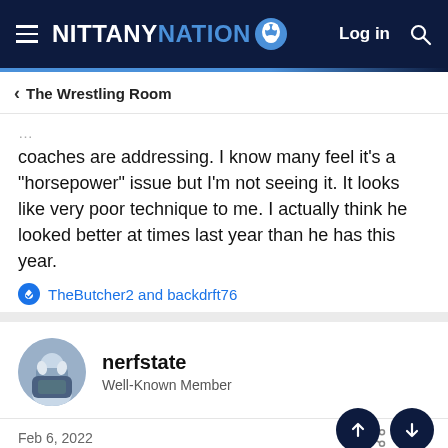NITTANY NATION — Log in
< The Wrestling Room
coaches are addressing. I know many feel it's a "horsepower" issue but I'm not seeing it. It looks like very poor technique to me. I actually think he looked better at times last year than he has this year.
TheButcher2 and backdrft76
nerfstate
Well-Known Member
Feb 6, 2022   #434
johnstownsteel said: